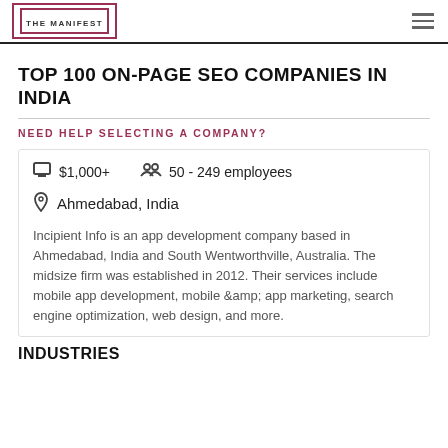THE MANIFEST
TOP 100 ON-PAGE SEO COMPANIES IN INDIA
NEED HELP SELECTING A COMPANY?
$1,000+   50 - 249 employees
Ahmedabad, India
Incipient Info is an app development company based in Ahmedabad, India and South Wentworthville, Australia. The midsize firm was established in 2012. Their services include mobile app development, mobile &amp; app marketing, search engine optimization, web design, and more.
INDUSTRIES